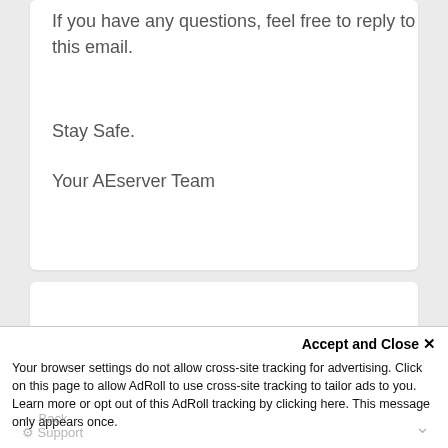If you have any questions, feel free to reply to this email.
Stay Safe.
Your AEserver Team
Accept and Close ✕
Your browser settings do not allow cross-site tracking for advertising. Click on this page to allow AdRoll to use cross-site tracking to tailor ads to you. Learn more or opt out of this AdRoll tracking by clicking here. This message only appears once.